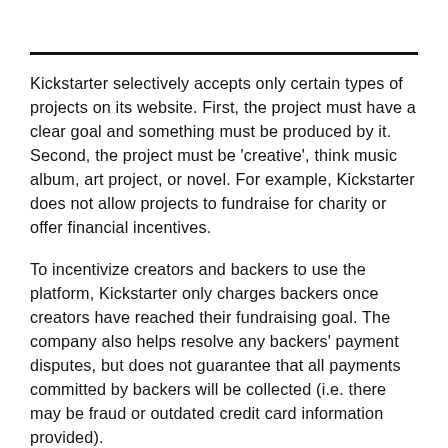Kickstarter selectively accepts only certain types of projects on its website. First, the project must have a clear goal and something must be produced by it. Second, the project must be 'creative', think music album, art project, or novel. For example, Kickstarter does not allow projects to fundraise for charity or offer financial incentives.
To incentivize creators and backers to use the platform, Kickstarter only charges backers once creators have reached their fundraising goal. The company also helps resolve any backers' payment disputes, but does not guarantee that all payments committed by backers will be collected (i.e. there may be fraud or outdated credit card information provided).